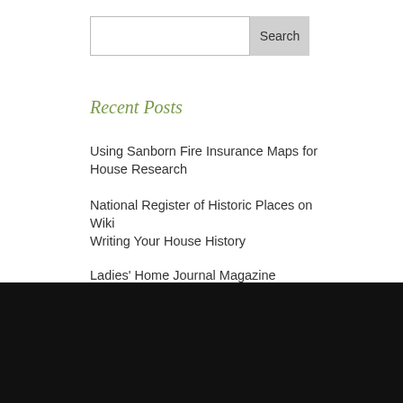Recent Posts
Using Sanborn Fire Insurance Maps for House Research
National Register of Historic Places on Wiki
Writing Your House History
Ladies' Home Journal Magazine
Helpful House History Research Article